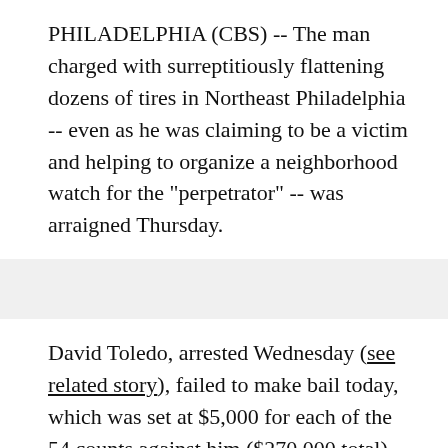PHILADELPHIA (CBS) -- The man charged with surreptitiously flattening dozens of tires in Northeast Philadelphia -- even as he was claiming to be a victim and helping to organize a neighborhood watch for the "perpetrator" -- was arraigned Thursday.
David Toledo, arrested Wednesday (see related story), failed to make bail today, which was set at $5,000 for each of the 54 counts against him ($270,000 total) -- 49 counts of criminal mischief and five counts of lying to police.  He would have to post 10 percent, or $27,000.
Unless he posts bail, Toledo will be held at least until his...